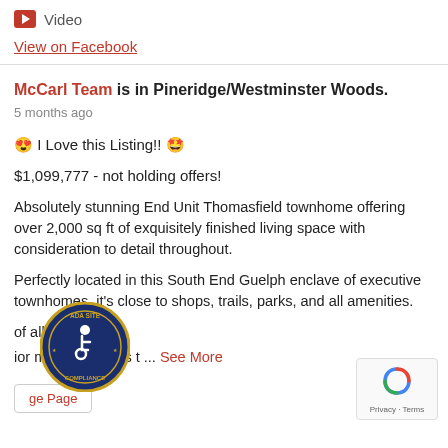Video
View on Facebook
McCarl Team is in Pineridge/Westminster Woods.
5 months ago
😍 I Love this Listing!! 🤩
$1,099,777 - not holding offers!
Absolutely stunning End Unit Thomasfield townhome offering over 2,000 sq ft of exquisitely finished living space with consideration to detail throughout.
Perfectly located in this South End Guelph enclave of executive townhomes, it's close to shops, trails, parks, and all amenities.
...of all?
ior maintenance is t ... See More
ge Page